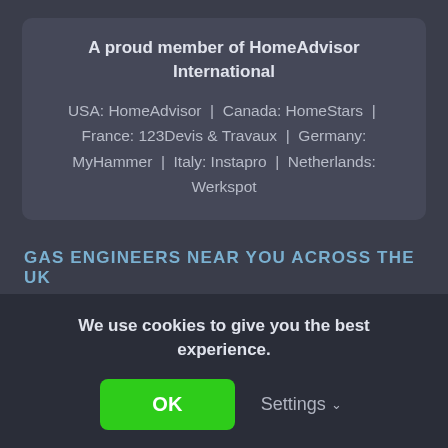A proud member of HomeAdvisor International
USA: HomeAdvisor | Canada: HomeStars | France: 123Devis & Travaux | Germany: MyHammer | Italy: Instapro | Netherlands: Werkspot
GAS ENGINEERS NEAR YOU ACROSS THE UK
Birmingham
Bolton
Bradford
Bristol
Cambridge
Cardiff
We use cookies to give you the best experience.